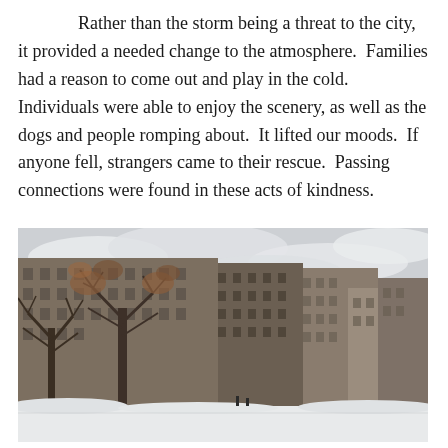Rather than the storm being a threat to the city, it provided a needed change to the atmosphere. Families had a reason to come out and play in the cold. Individuals were able to enjoy the scenery, as well as the dogs and people romping about. It lifted our moods. If anyone fell, strangers came to their rescue. Passing connections were found in these acts of kindness.
[Figure (photo): A winter photograph of a snow-covered urban scene with bare trees in the foreground and large multi-story brick apartment buildings in the background. The sky is overcast and cloudy. Snow is visible on the ground.]